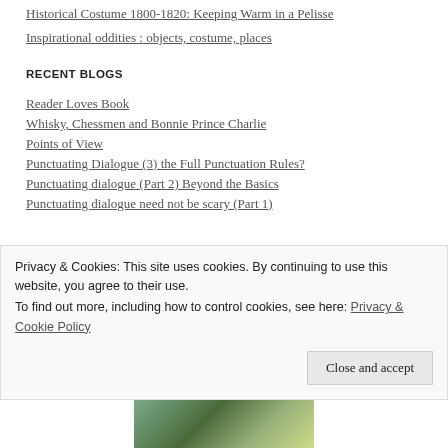Historical Costume 1800-1820: Keeping Warm in a Pelisse
Inspirational oddities : objects, costume, places
RECENT BLOGS
Reader Loves Book
Whisky, Chessmen and Bonnie Prince Charlie
Points of View
Punctuating Dialogue (3) the Full Punctuation Rules?
Punctuating dialogue (Part 2) Beyond the Basics
Punctuating dialogue need not be scary (Part 1)
Privacy & Cookies: This site uses cookies. By continuing to use this website, you agree to their use.
To find out more, including how to control cookies, see here: Privacy & Cookie Policy
Close and accept
[Figure (photo): Partial photo strip at the bottom of the page showing a person outdoors with green foliage background]